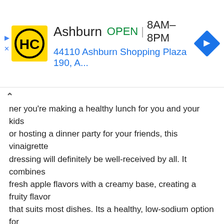[Figure (other): Ad banner for Hairclub (HC) store in Ashburn, showing logo, OPEN status, hours 8AM-8PM, address 44110 Ashburn Shopping Plaza 190, A..., and a blue navigation arrow icon]
ner youre making a healthy lunch for you and your kids or hosting a dinner party for your friends, this vinaigrette dressing will definitely be well-received by all. It combines fresh apple flavors with a creamy base, creating a fruity flavor that suits most dishes. Its a healthy, low-sodium option for your salads, vegetables, and slaws.
It contains apple cider vinegar, which has been shown to have antioxidant and antimicrobial effects and may help to lower blood sugar levels in those with type 2 diabetes.
Price: $2.73 for 16 oz